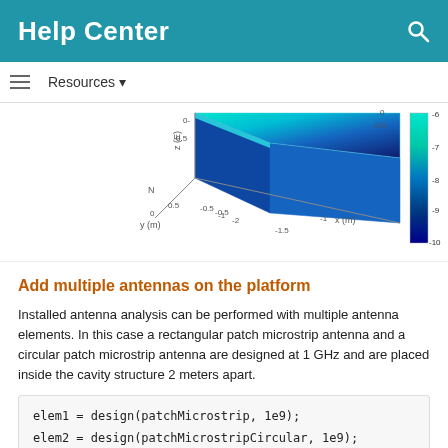Help Center
[Figure (engineering-diagram): 3D surface plot of E-field magnitude on a cavity platform, shown with x(m), y(m), z(E) axes and a colorbar ranging from approximately -10 to -6 dB]
Add multiple antennas on the platform
Installed antenna analysis can be performed with multiple antenna elements. In this case a rectangular patch microstrip antenna and a circular patch microstrip antenna are designed at 1 GHz and are placed inside the cavity structure 2 meters apart.
elem1 = design(patchMicrostrip, 1e9);
elem2 = design(patchMicrostripCircular, 1e9);
ant.ElementPosition = [-1 0 0.2; 1 0 0.2];
ant.Element = {elem1, elem2};
show(ant);